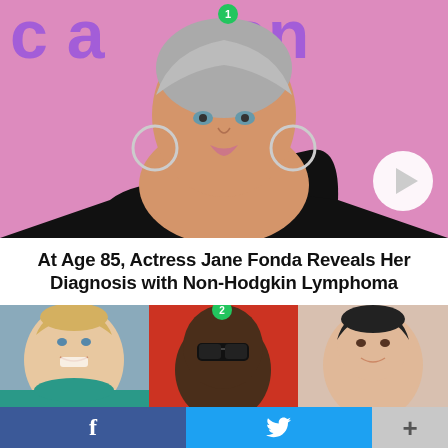[Figure (photo): Jane Fonda with grey hair in a black one-shoulder top against a pink/lavender background, with a green badge number 1 at top and a play button overlay at bottom right]
At Age 85, Actress Jane Fonda Reveals Her Diagnosis with Non-Hodgkin Lymphoma
[Figure (photo): Three photos side by side: Hillary Clinton smiling, a man with sunglasses (Kanye West) against a red background, and Kris Jenner smiling. Green badge number 2 above center photo.]
f  (twitter bird)  +